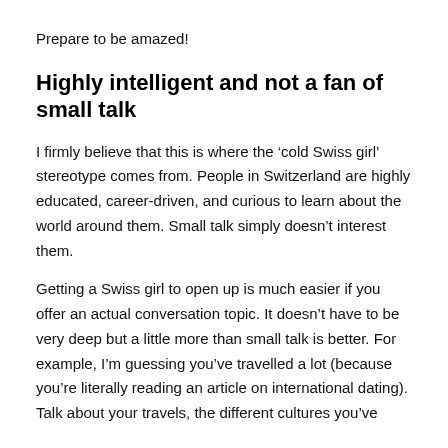Prepare to be amazed!
Highly intelligent and not a fan of small talk
I firmly believe that this is where the ‘cold Swiss girl’ stereotype comes from. People in Switzerland are highly educated, career-driven, and curious to learn about the world around them. Small talk simply doesn’t interest them.
Getting a Swiss girl to open up is much easier if you offer an actual conversation topic. It doesn’t have to be very deep but a little more than small talk is better. For example, I’m guessing you’ve travelled a lot (because you’re literally reading an article on international dating). Talk about your travels, the different cultures you’ve experienced and how they changed you.